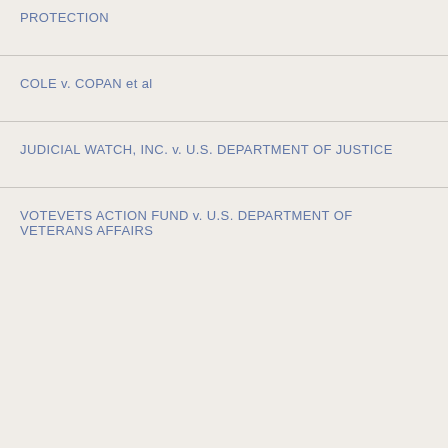PROTECTION
COLE v. COPAN et al
JUDICIAL WATCH, INC. v. U.S. DEPARTMENT OF JUSTICE
VOTEVETS ACTION FUND v. U.S. DEPARTMENT OF VETERANS AFFAIRS